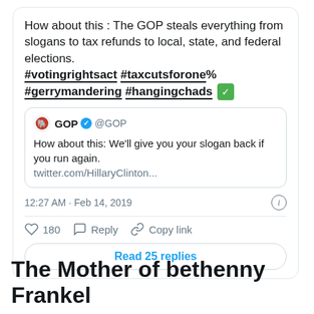How about this : The GOP steals everything from slogans to tax refunds to local, state, and federal elections. #votingrightsact #taxcutsforone% #gerrymandering #hangingchads ✅
[Figure (screenshot): Quoted tweet from @GOP: 'How about this: We'll give you your slogan back if you run again. twitter.com/HillaryClinton...']
12:27 AM · Feb 14, 2019
180   Reply   Copy link
Read 25 replies
The Mother of bethenny Frankel